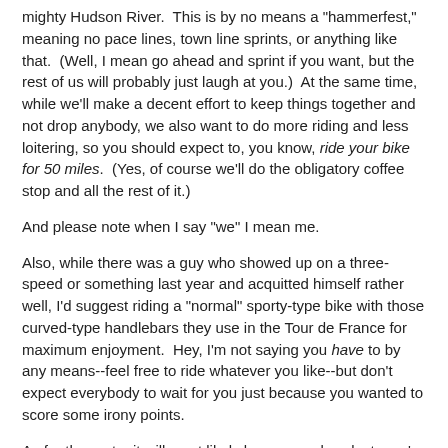mighty Hudson River.  This is by no means a "hammerfest," meaning no pace lines, town line sprints, or anything like that.  (Well, I mean go ahead and sprint if you want, but the rest of us will probably just laugh at you.)  At the same time, while we'll make a decent effort to keep things together and not drop anybody, we also want to do more riding and less loitering, so you should expect to, you know, ride your bike for 50 miles.  (Yes, of course we'll do the obligatory coffee stop and all the rest of it.)
And please note when I say "we" I mean me.
Also, while there was a guy who showed up on a three-speed or something last year and acquitted himself rather well, I'd suggest riding a "normal" sporty-type bike with those curved-type handlebars they use in the Tour de France for maximum enjoyment.  Hey, I'm not saying you have to by any means--feel free to ride whatever you like--but don't expect everybody to wait for you just because you wanted to score some irony points.
As for the route, it will most likely be more or less last year's